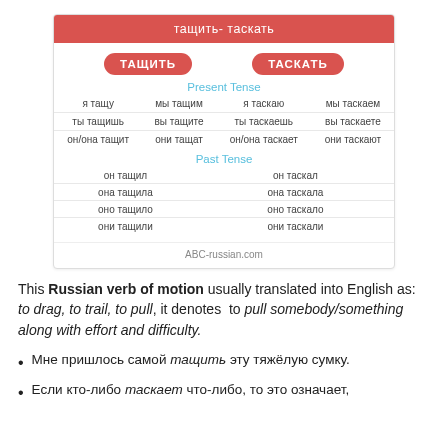[Figure (table-as-image): Russian verb conjugation card for тащить-таскать showing Present Tense and Past Tense forms]
This Russian verb of motion usually translated into English as: to drag, to trail, to pull, it denotes to pull somebody/something along with effort and difficulty.
Мне пришлось самой тащить эту тяжёлую сумку.
Если кто-либо таскает что-либо, то это означает,